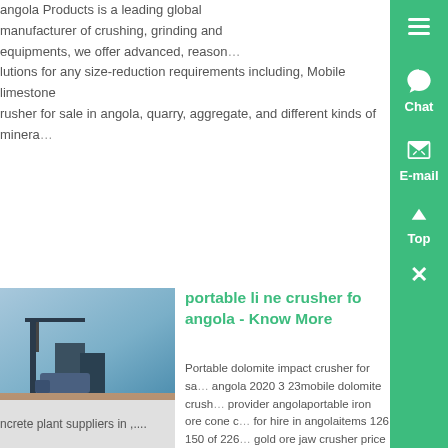angola Products is a leading global manufacturer of crushing, grinding and equipments, we offer advanced, reasonable solutions for any size-reduction requirements including, Mobile limestone crusher for sale in angola, quarry, aggregate, and different kinds of minerals.
[Figure (photo): Industrial port or construction site with cranes and machinery in Angola]
portable li ne crusher for angola - Know More
Portable dolomite impact crusher for sale angola 2020 3 23mobile dolomite crusher provider angolaportable iron ore cone crusher for hire in angolaitems 126 150 of 226 gold ore jaw crusher price angola porta... concrete plant suppliers in ,...
[Figure (photo): Large industrial machinery, possibly a crusher or grinding equipment]
Used Limestone Cone Crusher Suppliers In Angola - Know More